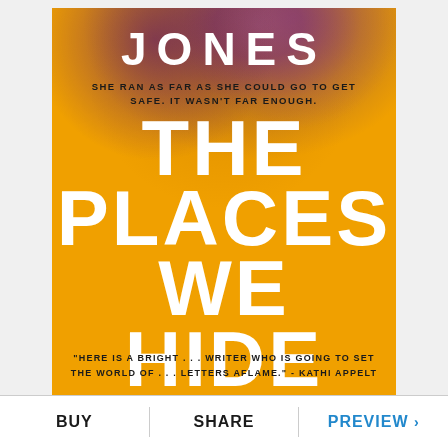[Figure (illustration): Book cover for 'The Places We Hide' by Jones. Orange background with purple/brown floral texture at top. Large white bold title text. Black tagline text. Black blurb quote at bottom.]
BUY   SHARE   PREVIEW ›